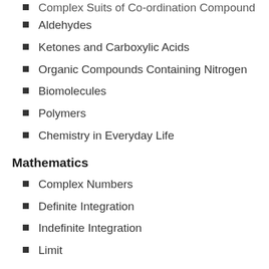Complex Suits of Co-ordination Compound
Aldehydes
Ketones and Carboxylic Acids
Organic Compounds Containing Nitrogen
Biomolecules
Polymers
Chemistry in Everyday Life
Mathematics
Complex Numbers
Definite Integration
Indefinite Integration
Limit